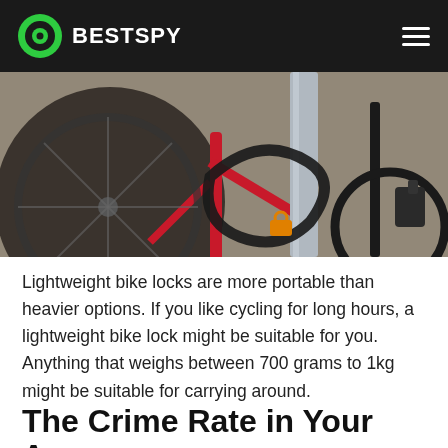BESTSPY
[Figure (photo): Close-up photo of a red bicycle locked to a metal pole with a black cable lock and orange padlock, with another black bicycle visible in the background against a stone wall.]
Lightweight bike locks are more portable than heavier options. If you like cycling for long hours, a lightweight bike lock might be suitable for you. Anything that weighs between 700 grams to 1kg might be suitable for carrying around.
The Crime Rate in Your Area